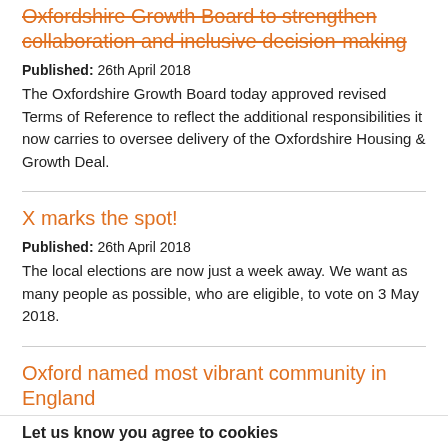Oxfordshire Growth Board to strengthen collaboration and inclusive decision-making
Published: 26th April 2018
The Oxfordshire Growth Board today approved revised Terms of Reference to reflect the additional responsibilities it now carries to oversee delivery of the Oxfordshire Housing & Growth Deal.
X marks the spot!
Published: 26th April 2018
The local elections are now just a week away. We want as many people as possible, who are eligible, to vote on 3 May 2018.
Oxford named most vibrant community in England
Published: 26th April 2018
Oxford has been named the most vibrant community in England as part of a new report measuring the economy success of regions across the country.
Let us know you agree to cookies